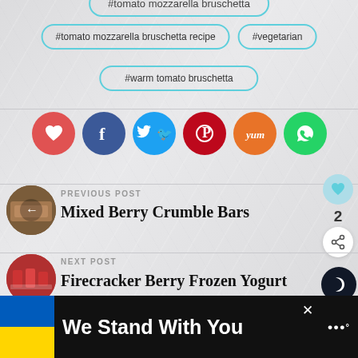#tomato mozzarella bruschetta (partial, cut off at top)
#tomato mozzarella bruschetta recipe
#vegetarian
#warm tomato bruschetta
[Figure (infographic): Row of 6 social share buttons: heart (red), Facebook (dark blue), Twitter (blue), Pinterest (dark red), Yummly (orange), WhatsApp (green)]
PREVIOUS POST
Mixed Berry Crumble Bars
NEXT POST
Firecracker Berry Frozen Yogurt
2
We Stand With You